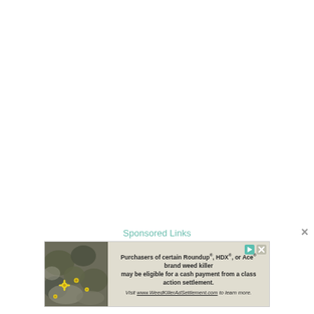Sponsored Links
[Figure (photo): Advertisement banner: photo of mossy stones with yellow flowers on left side. Text reads: 'Purchasers of certain Roundup®, HDX®, or Ace® brand weed killer may be eligible for a cash payment from a class action settlement. Visit www.WeedKillerAdSettlement.com to learn more.' with a play button icon and close button icon on the right side of the ad.]
×